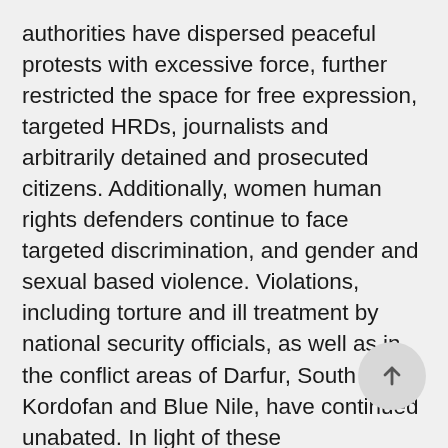authorities have dispersed peaceful protests with excessive force, further restricted the space for free expression, targeted HRDs, journalists and arbitrarily detained and prosecuted citizens. Additionally, women human rights defenders continue to face targeted discrimination, and gender and sexual based violence. Violations, including torture and ill treatment by national security officials, as well as in the conflict areas of Darfur, South Kordofan and Blue Nile, have continued unabated. In light of these developments, DefendDefenders, Amnesty International, and the African Centre for Justice and Peace Studies, organised a parallel event on 25 October to discuss ongoing violations and abuses, and what the African Commission needs to do to fulfil its mandate with regard to